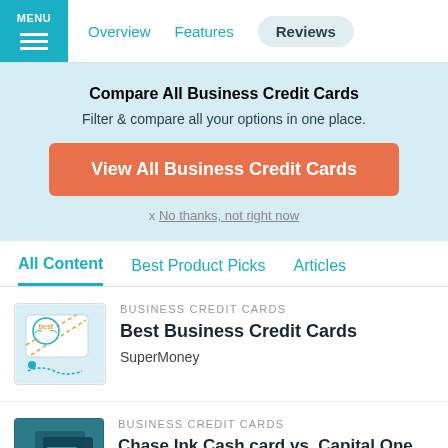MENU | Overview | Features | Reviews
Compare All Business Credit Cards
Filter & compare all your options in one place.
View All Business Credit Cards
x No thanks, not right now
All Content | Best Product Picks | Articles
[Figure (illustration): Card illustration with 'best' badge and diagonal lines]
BUSINESS CREDIT CARDS
Best Business Credit Cards
SuperMoney
[Figure (photo): Credit cards photo with accessibility icon overlay]
BUSINESS CREDIT CARDS
Chase Ink Cash card vs. Capital One Spark Cash Card